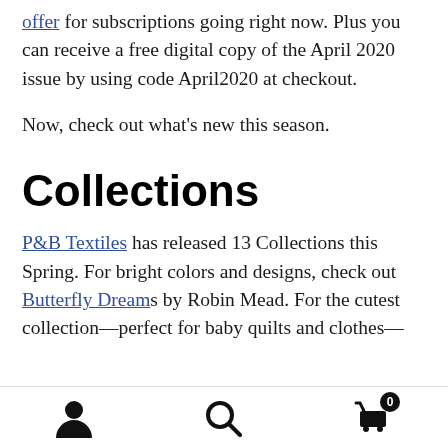offer for subscriptions going right now. Plus you can receive a free digital copy of the April 2020 issue by using code April2020 at checkout.
Now, check out what's new this season.
Collections
P&B Textiles has released 13 Collections this Spring. For bright colors and designs, check out Butterfly Dreams by Robin Mead. For the cutest collection—perfect for baby quilts and clothes—
[user icon] [search icon] [cart icon with badge 0]